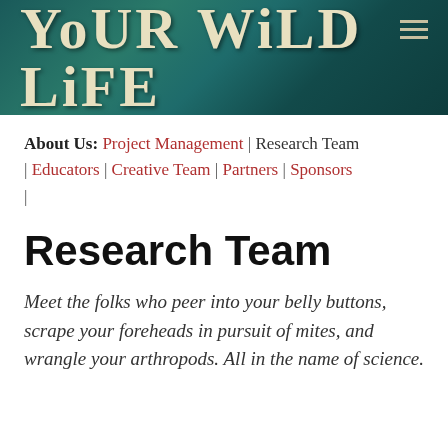[Figure (logo): Your Wild Life website header banner with textured dark teal/green background and the site title 'Your Wild Life' in large cream/tan serif letters with a hamburger menu icon in the top right corner]
About Us: Project Management | Research Team | Educators | Creative Team | Partners | Sponsors |
Research Team
Meet the folks who peer into your belly buttons, scrape your foreheads in pursuit of mites, and wrangle your arthropods. All in the name of science.